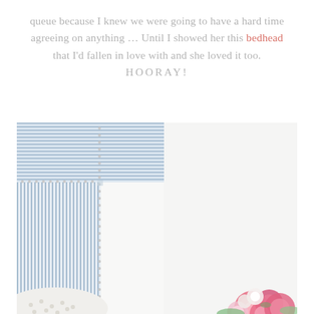queue because I knew we were going to have a hard time agreeing on anything … Until I showed her this bedhead that I'd fallen in love with and she loved it too.
HOORAY!
[Figure (photo): A blue and white striped fabric upholstered bedhead/headboard photographed against a white background. The headboard has a classic rectangular shape with a nailhead trim detail along the edges. In the lower left corner, a white pillow with a dotted pattern is partially visible. In the lower right, a bouquet of pink and white flowers is partially visible.]